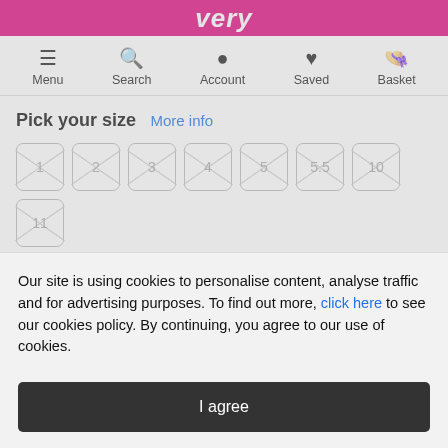very
Menu  Search  Account  Saved  Basket
Pick your size  More info
1
2
3
4
5
5.5
10
11
12
13
Our site is using cookies to personalise content, analyse traffic and for advertising purposes. To find out more, click here to see our cookies policy. By continuing, you agree to our use of cookies.
I agree